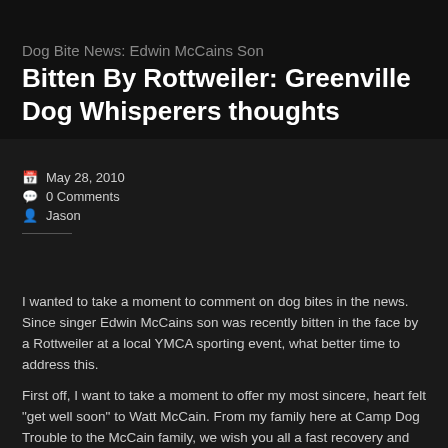≡ MENU
Dog Bite News: Edwin McCains Son Bitten By Rottweiler: Greenville Dog Whisperers thoughts
May 28, 2010
0 Comments
Jason
I wanted to take a moment to comment on dog bites in the news. Since singer Edwin McCains son was recently bitten in the face by a Rottweiler at a local YMCA sporting event, what better time to address this.
First off, I want to take a moment to offer my most sincere, heart felt "get well soon" to Watt McCain. From my family here at Camp Dog Trouble to the McCain family, we wish you all a fast recovery and will keep you in our prayers.
I would also like to offer the McCain family an open invitation, especially Watt, to come meet a small pack of well behaved dogs... including a calm submissive Rottweiler who was raised around children. It is important for a dog bite victim to move past one badly behaved dog. It is also important for children to learn HOW to behave around dogs as well, so I would be honored to teach the McCain family how to understand more about dog